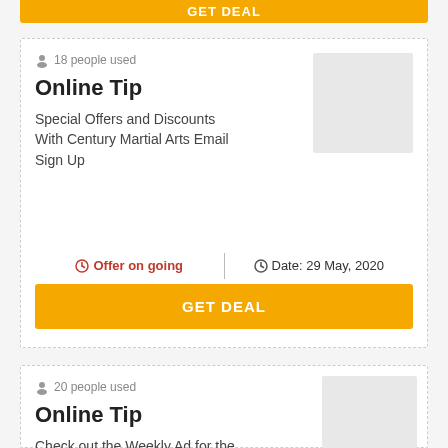GET DEAL
18 people used
Online Tip
Special Offers and Discounts With Century Martial Arts Email Sign Up
[Figure (other): Gray placeholder image box]
Offer on going
Date: 29 May, 2020
GET DEAL
20 people used
Online Tip
Check out the Weekly Ad for the Best Deals in Your Area This Week
[Figure (other): Gray placeholder image box]